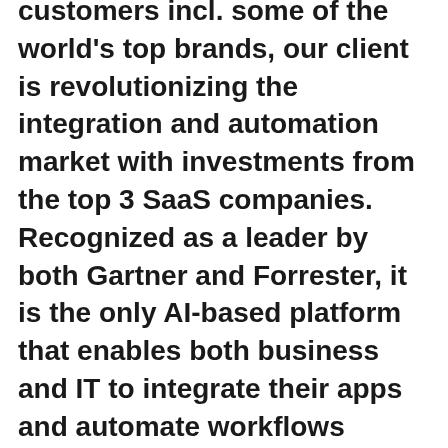customers incl. some of the world's top brands, our client is revolutionizing the integration and automation market with investments from the top 3 SaaS companies. Recognized as a leader by both Gartner and Forrester, it is the only AI-based platform that enables both business and IT to integrate their apps and automate workflows across their enterprise with robust security and governance.
They are looking for an exceptional Enterprise Account Executive to join their growing team. In this role, you will manage customer relationships from prospecting, qualification, close, to post-sales growth. Typical sales cycles may involve POCs, multiple stakeholders, strategic pricing negotiations, and selling to executives and CXOs. This is a Remote Role based anywhere in Western